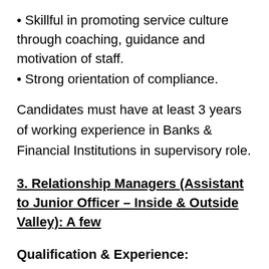Skillful in promoting service culture through coaching, guidance and motivation of staff.
Strong orientation of compliance.
Candidates must have at least 3 years of working experience in Banks & Financial Institutions in supervisory role.
3. Relationship Managers (Assistant to Junior Officer – Inside & Outside Valley): A few
Qualification & Experience:
The candidate must have at least Bachelor's Degree or equivalent in Business Administration,